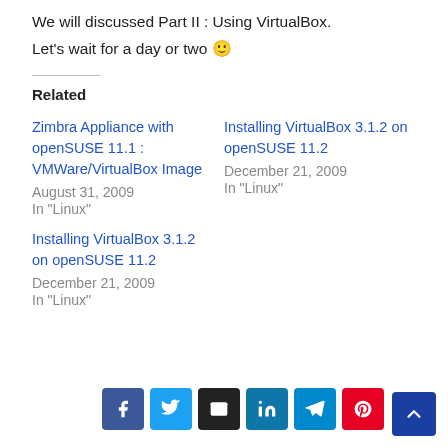We will discussed Part II : Using VirtualBox.
Let's wait for a day or two 🙂
Related
Zimbra Appliance with openSUSE 11.1 : VMWare/VirtualBox Image
August 31, 2009
In "Linux"
Installing VirtualBox 3.1.2 on openSUSE 11.2
December 21, 2009
In "Linux"
Installing VirtualBox 3.1.2 on openSUSE 11.2
December 21, 2009
In "Linux"
[Figure (infographic): Social share buttons: Facebook, Twitter, Email, LinkedIn, Telegram, Pinterest, and a back-to-top button]